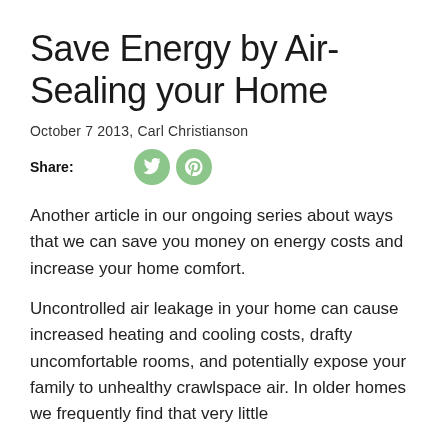Save Energy by Air-Sealing your Home
October 7 2013, Carl Christianson
Share:
Another article in our ongoing series about ways that we can save you money on energy costs and increase your home comfort.
Uncontrolled air leakage in your home can cause increased heating and cooling costs, drafty uncomfortable rooms, and potentially expose your family to unhealthy crawlspace air. In older homes we frequently find that very little